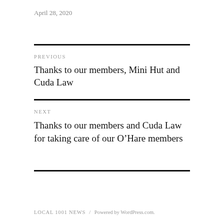April 28, 2020
PREVIOUS
Thanks to our members, Mini Hut and Cuda Law
NEXT
Thanks to our members and Cuda Law for taking care of our O’Hare members
LOCAL 1001 NEWS / Powered by WordPress.com.